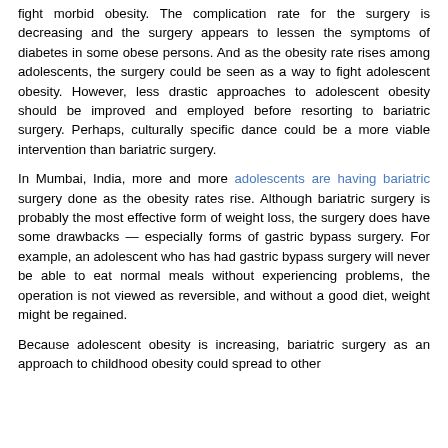fight morbid obesity. The complication rate for the surgery is decreasing and the surgery appears to lessen the symptoms of diabetes in some obese persons. And as the obesity rate rises among adolescents, the surgery could be seen as a way to fight adolescent obesity. However, less drastic approaches to adolescent obesity should be improved and employed before resorting to bariatric surgery. Perhaps, culturally specific dance could be a more viable intervention than bariatric surgery.
In Mumbai, India, more and more adolescents are having bariatric surgery done as the obesity rates rise. Although bariatric surgery is probably the most effective form of weight loss, the surgery does have some drawbacks — especially forms of gastric bypass surgery. For example, an adolescent who has had gastric bypass surgery will never be able to eat normal meals without experiencing problems, the operation is not viewed as reversible, and without a good diet, weight might be regained.
Because adolescent obesity is increasing, bariatric surgery as an approach to childhood obesity could spread to other